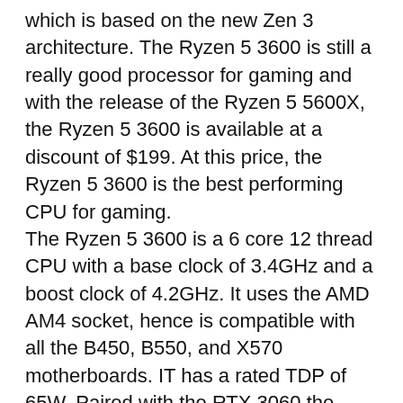which is based on the new Zen 3 architecture. The Ryzen 5 3600 is still a really good processor for gaming and with the release of the Ryzen 5 5600X, the Ryzen 5 3600 is available at a discount of $199. At this price, the Ryzen 5 3600 is the best performing CPU for gaming.
The Ryzen 5 3600 is a 6 core 12 thread CPU with a base clock of 3.4GHz and a boost clock of 4.2GHz. It uses the AMD AM4 socket, hence is compatible with all the B450, B550, and X570 motherboards. IT has a rated TDP of 65W. Paired with the RTX 3060 the Ryzen 5 3600 should perform flawlessly without any bottleneck issues.
If your willing to spend another $100, then consider upgrading to the Ryzen 5 5600X which is the newest